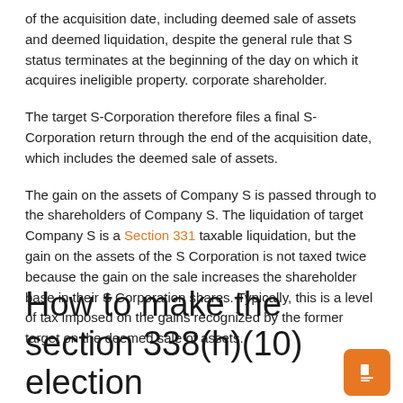of the acquisition date, including deemed sale of assets and deemed liquidation, despite the general rule that S status terminates at the beginning of the day on which it acquires ineligible property. corporate shareholder.
The target S-Corporation therefore files a final S-Corporation return through the end of the acquisition date, which includes the deemed sale of assets.
The gain on the assets of Company S is passed through to the shareholders of Company S. The liquidation of target Company S is a Section 331 taxable liquidation, but the gain on the assets of the S Corporation is not taxed twice because the gain on the sale increases the shareholder base in their S Corporation shares. Typically, this is a level of tax imposed on the gains recognized by the former target on the deemed sale of assets.
How to make the section 338(h)(10) election